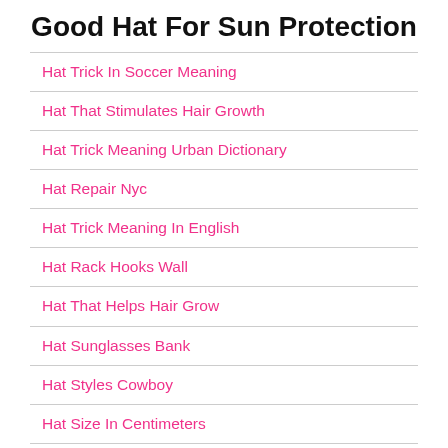Good Hat For Sun Protection
Hat Trick In Soccer Meaning
Hat That Stimulates Hair Growth
Hat Trick Meaning Urban Dictionary
Hat Repair Nyc
Hat Trick Meaning In English
Hat Rack Hooks Wall
Hat That Helps Hair Grow
Hat Sunglasses Bank
Hat Styles Cowboy
Hat Size In Centimeters
Hat Store Helen Ga